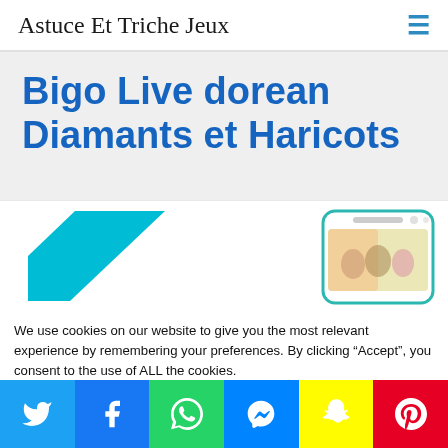Astuce Et Triche Jeux
Bigo Live dorean Diamants et Haricots
[Figure (screenshot): Partial screenshot showing teal geometric logo on left and mobile phone mockup on right displaying Bigo Live app]
We use cookies on our website to give you the most relevant experience by remembering your preferences. By clicking “Accept”, you consent to the use of ALL the cookies.
Do not sell my personal information.
Social share bar: Twitter, Facebook, WhatsApp, Messenger, Snapchat, Pinterest